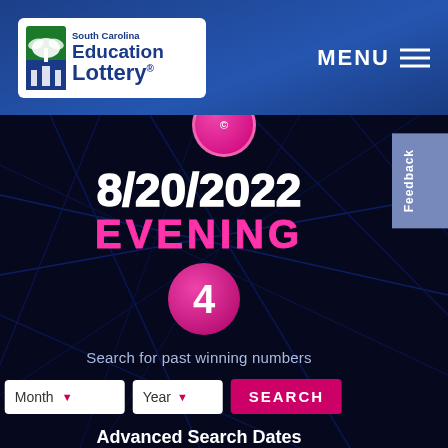[Figure (logo): South Carolina Education Lottery logo with palm tree icon]
MENU
[Figure (screenshot): Dark blue background with diagonal light streaks and lottery ball showing number 4]
8/20/2022
EVENING
Search for past winning numbers
Month   Year   SEARCH
Advanced Search Dates